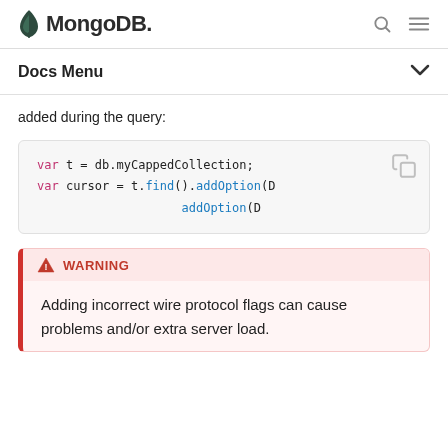MongoDB
Docs Menu
added during the query:
var t = db.myCappedCollection;
var cursor = t.find().addOption(D
                    addOption(D
WARNING
Adding incorrect wire protocol flags can cause problems and/or extra server load.